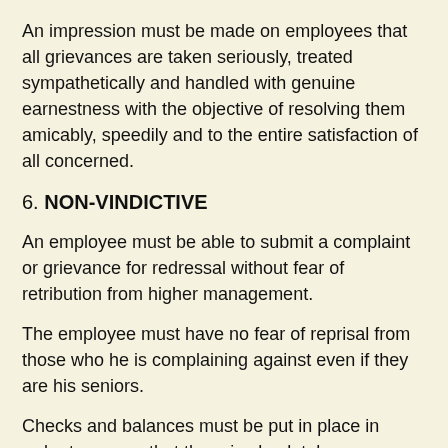An impression must be made on employees that all grievances are taken seriously, treated sympathetically and handled with genuine earnestness with the objective of resolving them amicably, speedily and to the entire satisfaction of all concerned.
6. NON-VINDICTIVE
An employee must be able to submit a complaint or grievance for redressal without fear of retribution from higher management.
The employee must have no fear of reprisal from those who he is complaining against even if they are his seniors.
Checks and balances must be put in place in order to ensure that there is absolutely no victimization or harassment of the employee who is submitting a grievance or making a complaint and whistle-blowers must be protected.
The system must be absolutely non-punitive and there must not be the slightest perception or even a shred of doubt in the mind of the employees that they will be “punished” for